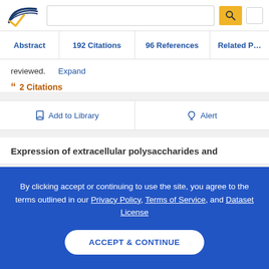Semantic Scholar — header with logo, search bar, navigation tabs: Abstract, 192 Citations, 96 References, Related P…
reviewed.   Expand
❝ 2 Citations
☐ Add to Library   🔔 Alert
Expression of extracellular polysaccharides and
By clicking accept or continuing to use the site, you agree to the terms outlined in our Privacy Policy, Terms of Service, and Dataset License
ACCEPT & CONTINUE